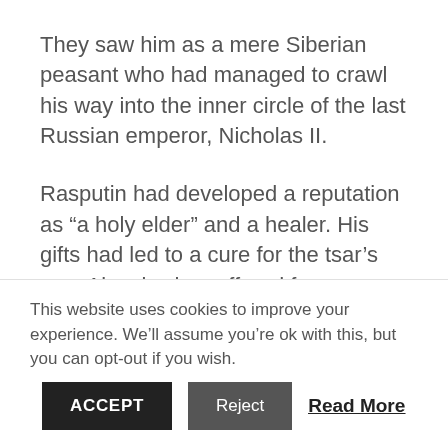They saw him as a mere Siberian peasant who had managed to crawl his way into the inner circle of the last Russian emperor, Nicholas II.
Rasputin had developed a reputation as “a holy elder” and a healer. His gifts had led to a cure for the tsar’s son, Alexei, who suffered from hemophilia.
In the eyes of Nicholas II, Rasputin could do no wrong. In the eyes of the rest of the court, the
This website uses cookies to improve your experience. We’ll assume you’re ok with this, but you can opt-out if you wish.
ACCEPT
Reject
Read More